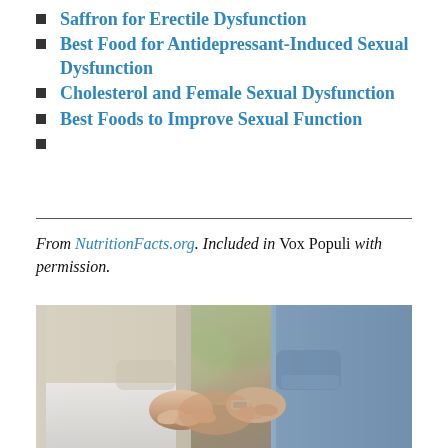Saffron for Erectile Dysfunction
Best Food for Antidepressant-Induced Sexual Dysfunction
Cholesterol and Female Sexual Dysfunction
Best Foods to Improve Sexual Function
From NutritionFacts.org. Included in Vox Populi with permission.
[Figure (photo): Two people holding hands outdoors, one wearing a light beige top and white pants, the other in a light blue denim shirt. Blurred outdoor background with trees.]